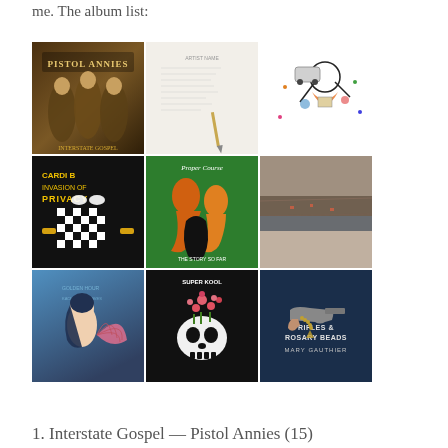me. The album list:
[Figure (photo): 3x3 grid of album covers including Pistol Annies, Cardi B Invasion of Privacy, Proper Dose, Kacey Musgraves, Super Kool skull album, Rifles & Rosary Beads by Mary Gauthier, and others]
1. Interstate Gospel — Pistol Annies (15)